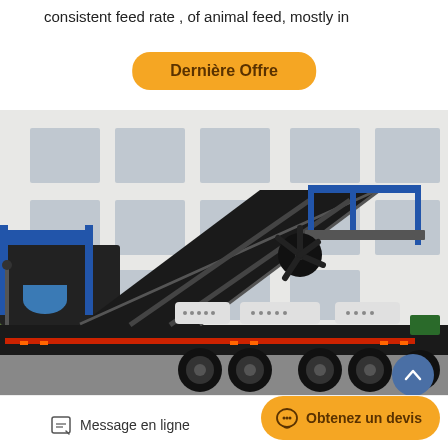consistent feed rate , of animal feed, mostly in
Dernière Offre
[Figure (photo): Mobile crushing/screening machine on a trailer with blue railings, black body, red stripe along base, parked in front of a white industrial building. The machine features a large inclined conveyor belt, a fan/rotor unit, and sits on a multi-axle trailer with large black wheels.]
Message en ligne
Obtenez un devis